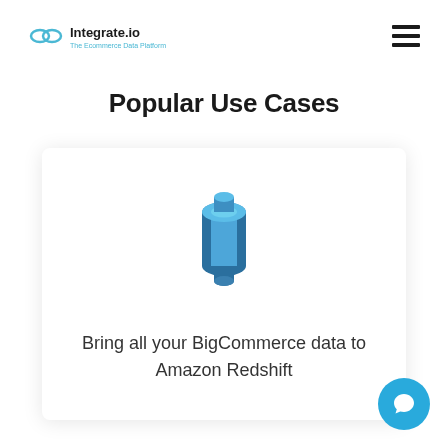Integrate.io — The Ecommerce Data Platform
Popular Use Cases
[Figure (logo): Amazon Redshift logo — blue 3D cylindrical/barrel shaped icon]
Bring all your BigCommerce data to Amazon Redshift